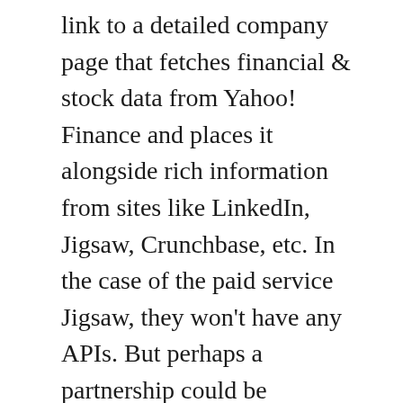link to a detailed company page that fetches financial & stock data from Yahoo! Finance and places it alongside rich information from sites like LinkedIn, Jigsaw, Crunchbase, etc. In the case of the paid service Jigsaw, they won't have any APIs. But perhaps a partnership could be brokered.
ADDITIONAL FEATURES
In addition to the four features above, there are other cool things this app could do. A neat feature could be a Google (GOOG) map with real-time updates, a la DailyBooth or HashParty's reach map. Each time a new piece of content is published, it could appear right